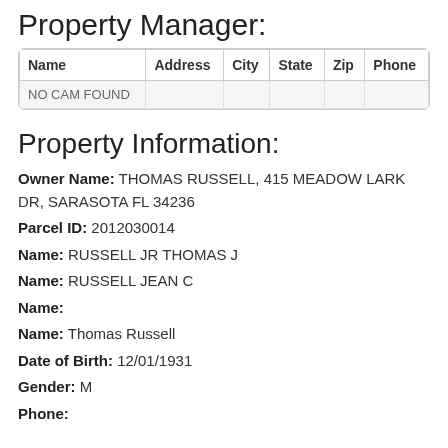Property Manager:
| Name | Address | City | State | Zip | Phone |
| --- | --- | --- | --- | --- | --- |
| NO CAM FOUND |  |  |  |  |  |
Property Information:
Owner Name: THOMAS RUSSELL, 415 MEADOW LARK DR, SARASOTA FL 34236
Parcel ID: 2012030014
Name: RUSSELL JR THOMAS J
Name: RUSSELL JEAN C
Name:
Name: Thomas Russell
Date of Birth: 12/01/1931
Gender: M
Phone: